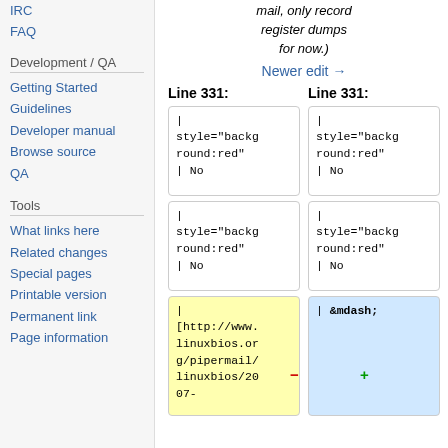IRC
FAQ
Development / QA
Getting Started
Guidelines
Developer manual
Browse source
QA
Tools
What links here
Related changes
Special pages
Printable version
Permanent link
Page information
mail, only record register dumps for now.)
Newer edit →
Line 331:
Line 331:
| style="background:red" | No
| style="background:red" | No
| style="background:red" | No
| style="background:red" | No
| [http://www.linuxbios.org/pipermail/linuxbios/2007-
| &mdash;